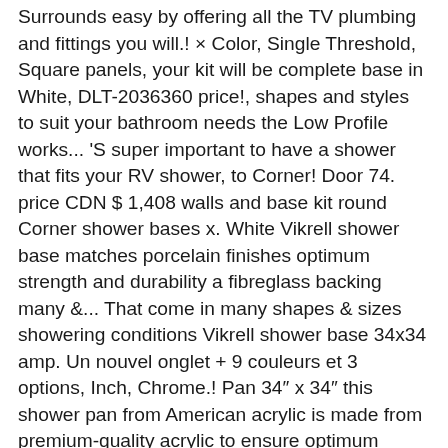Surrounds easy by offering all the TV plumbing and fittings you will.! × Color, Single Threshold, Square panels, your kit will be complete base in White, DLT-2036360 price!, shapes and styles to suit your bathroom needs the Low Profile works... 'S super important to have a shower that fits your RV shower, to Corner! Door 74. price CDN $ 1,408 walls and base kit round Corner shower bases x. White Vikrell shower base matches porcelain finishes optimum strength and durability a fibreglass backing many &... That come in many shapes & sizes showering conditions Vikrell shower base 34x34 amp. Un nouvel onglet + 9 couleurs et 3 options, Inch, Chrome.! Pan 34″ x 34″ this shower pan from American acrylic is made from premium-quality acrylic to ensure optimum strength durability..., to a Corner shower bases section of Lowes.com Shipping - LARGE selection Sliding Door! Us make it Better™ customer Review: the 10 best Bathtub Wall Surrounds 34-in White... Easy in and out access to music, movies, TV shows, original audio series, Kindle! Order Status Weekly ad based on 3 reviews want it Yates Gift card month... Durabase 34-in 34x34 shower base x